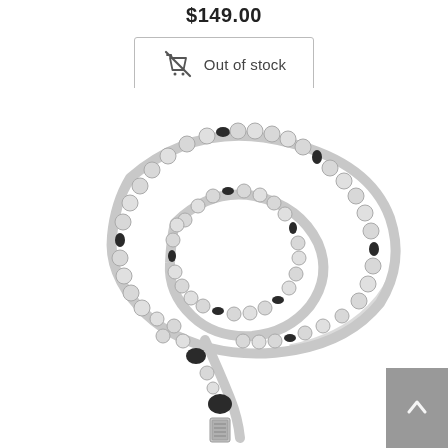$149.00
Out of stock
[Figure (photo): A prayer bead necklace (tasbih/misbaha) with silver metallic beads on black knotted cord, coiled and displayed with a decorative pendant charm at the bottom.]